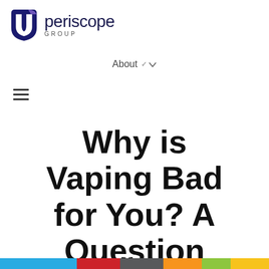[Figure (logo): Periscope Group logo with shield icon in blue/purple and text 'periscope GROUP']
About ˅
[Figure (other): Hamburger menu icon (three horizontal lines)]
Why is Vaping Bad for You? A Question